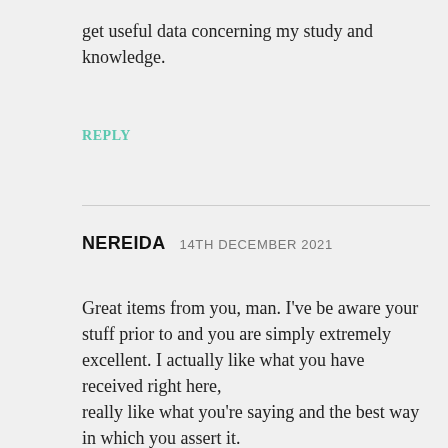get useful data concerning my study and knowledge.
REPLY
NEREIDA   14TH DECEMBER 2021
Great items from you, man. I've be aware your stuff prior to and you are simply extremely excellent. I actually like what you have received right here,
really like what you're saying and the best way in which you assert it.
You are making it entertaining and you still take care
of to keep it wise. I can't wait to learn far more from you.